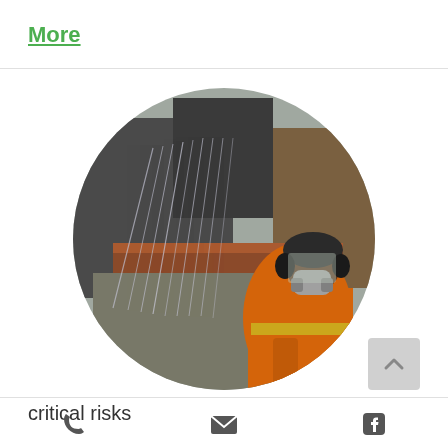More
[Figure (photo): Industrial worker wearing orange high-visibility clothing, respirator mask, and ear protection, working at an industrial site with large metal structures and spray/sparks visible in the background. Photo is cropped in a circle.]
critical risks
[Figure (infographic): Footer navigation icons: phone, email/envelope, and Facebook icon]
[Figure (infographic): Scroll-to-top button with upward chevron arrow]